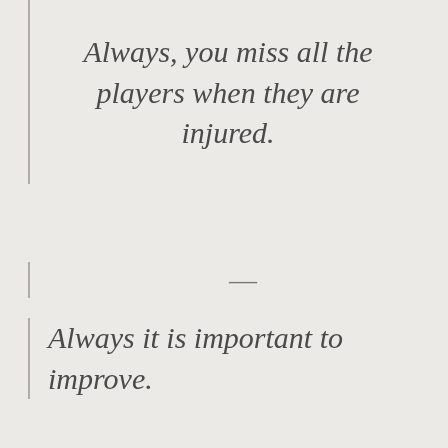Always, you miss all the players when they are injured.
—
Always it is important to improve.
—
The most important club in the world is Tottenham. And it is the best club in the...